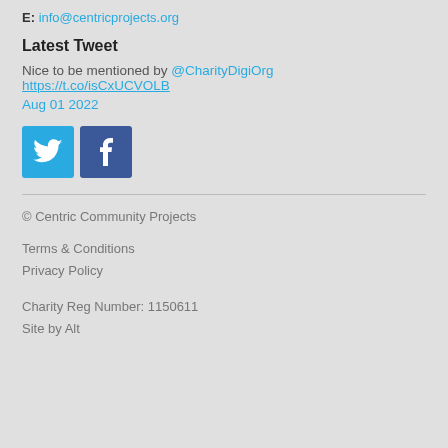E: info@centricprojects.org
Latest Tweet
Nice to be mentioned by @CharityDigiOrg https://t.co/isCxUCVOLB Aug 01 2022
[Figure (other): Twitter and Facebook social media icons]
© Centric Community Projects
Terms & Conditions
Privacy Policy
Charity Reg Number: 1150611
Site by Alt